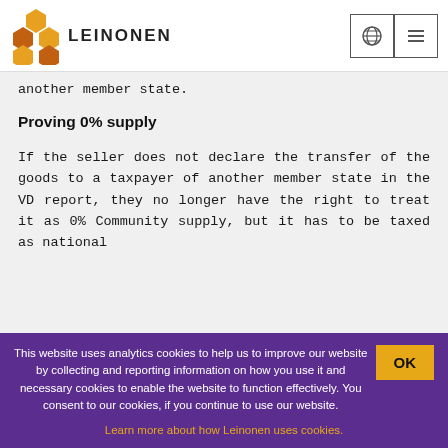[Figure (logo): Leinonen logo with honeycomb hexagon icon and LEINONEN text]
another member state.
Proving 0% supply
If the seller does not declare the transfer of the goods to a taxpayer of another member state in the VD report, they no longer have the right to treat it as 0% Community supply, but it has to be taxed as national
This website uses analytics cookies to help us to improve our website by collecting and reporting information on how you use it and necessary cookies to enable the website to function effectively. You consent to our cookies, if you continue to use our website.
Learn more about how Leinonen uses cookies.